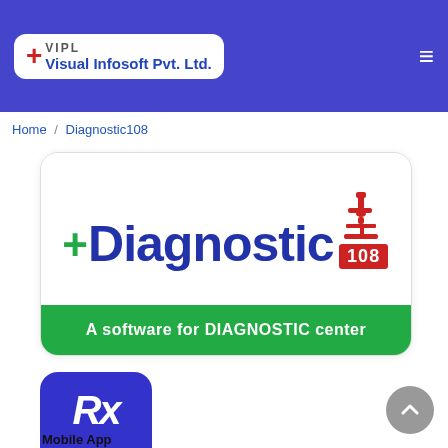VIPL Visual Infosoft Pvt. Ltd.
Home / Diagnostic108
[Figure (logo): Diagnostic108 logo with microscope icon, green plus cross, blue text 'Diagnostic', red badge '108', and green bar 'A software for DIAGNOSTIC center']
[Figure (logo): Rx 108 Mobile App icon — blue rounded square with italic Rx text and red 108 badge]
Mobile App